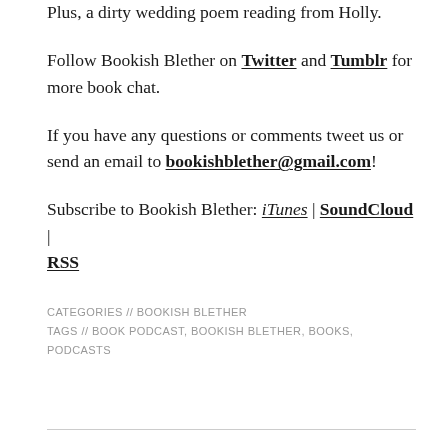Plus, a dirty wedding poem reading from Holly.
Follow Bookish Blether on Twitter and Tumblr for more book chat.
If you have any questions or comments tweet us or send an email to bookishblether@gmail.com!
Subscribe to Bookish Blether: iTunes | SoundCloud | RSS
CATEGORIES // BOOKISH BLETHER
TAGS // BOOK PODCAST, BOOKISH BLETHER, BOOKS, PODCASTS